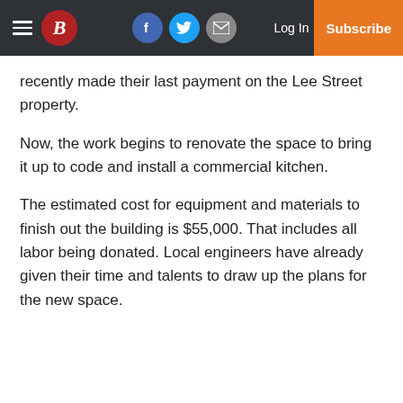Boston Globe navigation bar with hamburger menu, B logo, Facebook, Twitter, Email icons, Log In, Subscribe
recently made their last payment on the Lee Street property.
Now, the work begins to renovate the space to bring it up to code and install a commercial kitchen.
The estimated cost for equipment and materials to finish out the building is $55,000. That includes all labor being donated. Local engineers have already given their time and talents to draw up the plans for the new space.